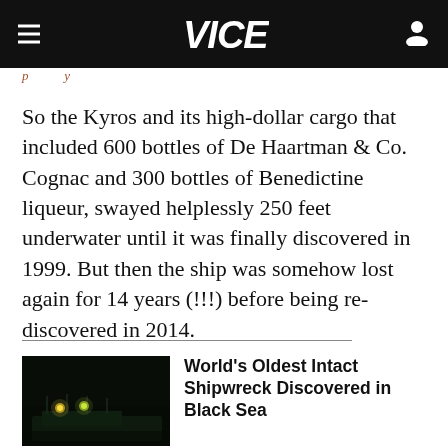VICE
So the Kyros and its high-dollar cargo that included 600 bottles of De Haartman & Co. Cognac and 300 bottles of Benedictine liqueur, swayed helplessly 250 feet underwater until it was finally discovered in 1999. But then the ship was somehow lost again for 14 years (!!!) before being re-discovered in 2014.
[Figure (photo): Dark underwater or nighttime photo of a shipwreck with two glowing green/yellow lights visible]
World's Oldest Intact Shipwreck Discovered in Black Sea